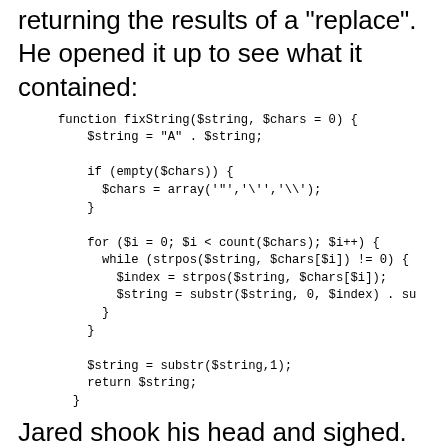returning the results of a "replace". He opened it up to see what it contained:
Jared shook his head and sighed. Instead of including the entire, 800-line everything.inc file in his page, he opted for the built-in replace():